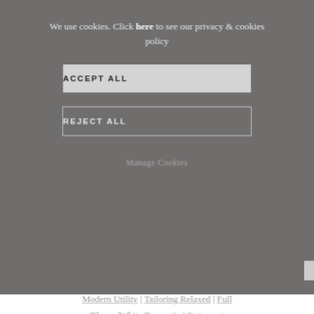We use cookies. Click here to see our privacy & cookies policy
ACCEPT ALL
REJECT ALL
Manage Cookies
Modern Utility | Tailoring Relaxed | Full Bloom | White Romantic | Statement Stripes | Summer Luxe
Head to Designer Outlet Roosendaal this season where designers have emerged from collective lockdown with a renewed sense of positivity for Spring/Summer 21, merging the timeless with the modern and all bound together with a stampede of